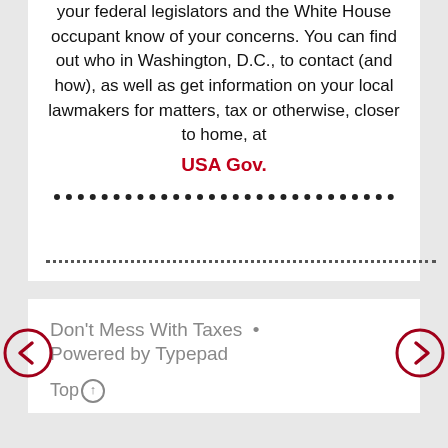your federal legislators and the White House occupant know of your concerns. You can find out who in Washington, D.C., to contact (and how), as well as get information on your local lawmakers for matters, tax or otherwise, closer to home, at USA Gov.
Don't Mess With Taxes • Powered by Typepad
Top